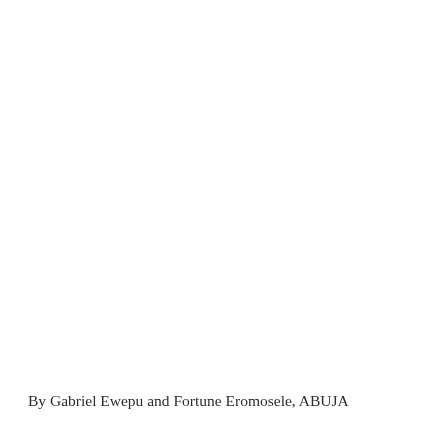By Gabriel Ewepu and Fortune Eromosele, ABUJA